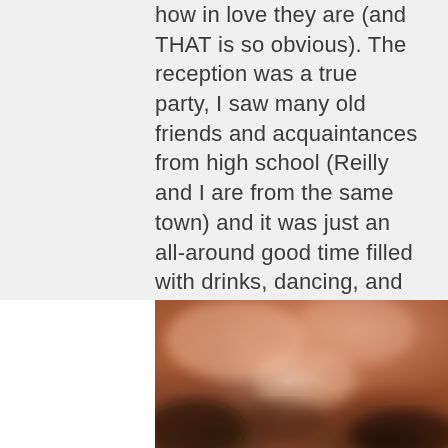how in love they are (and THAT is so obvious). The reception was a true party, I saw many old friends and acquaintances from high school (Reilly and I are from the same town) and it was just an all-around good time filled with drinks, dancing, and lots of love for the bride and groom. It honestly couldn't have been more perfect of a day. Congratulations to Reilly and Tyler!
[Figure (photo): Blurred close-up photograph with warm tones of orange, brown, peach and dark areas — appears to be a wedding reception photo, out of focus]